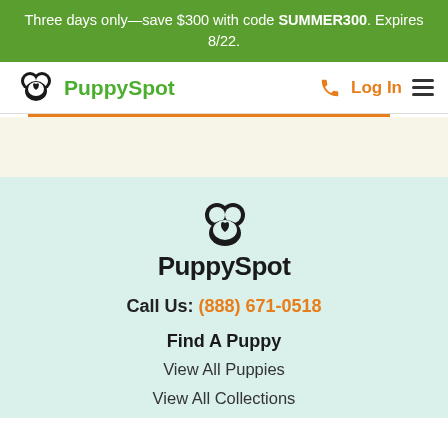Three days only—save $300 with code SUMMER300. Expires 8/22.
[Figure (logo): PuppySpot navigation bar with dog logo in black, 'PuppySpot' in green text, phone icon in orange, 'Log In' in orange, and hamburger menu icon]
[Figure (screenshot): Light beige search/filter content area with orange horizontal underline at top]
[Figure (logo): PuppySpot footer logo: dog face icon in black above 'PuppySpot' in bold black text]
Call Us: (888) 671-0518
Find A Puppy
View All Puppies
View All Collections